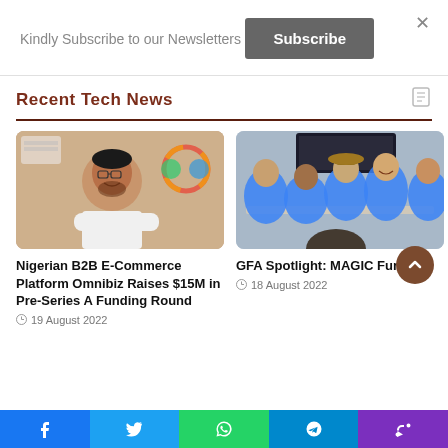Kindly Subscribe to our Newsletters
Subscribe
Recent Tech News
[Figure (photo): Man in white shirt seated with arms crossed, smiling, with a colorful logo in background]
Nigerian B2B E-Commerce Platform Omnibiz Raises $15M in Pre-Series A Funding Round
19 August 2022
[Figure (photo): Group of people in blue shirts sitting around a table in a meeting room with a large screen]
GFA Spotlight: MAGIC Fund
18 August 2022